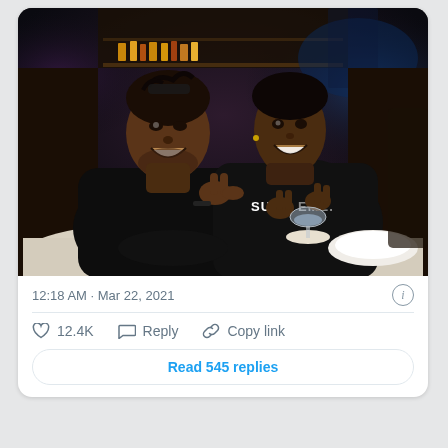[Figure (photo): Two young Black men sitting at a restaurant table, both wearing black hoodies, smiling and making hand gestures. The man on the right wears a Supreme hoodie. There is a wine glass with water and a white plate on the table. The restaurant background has dim lighting and a bar area.]
12:18 AM · Mar 22, 2021
♡ 12.4K   Reply   Copy link
Read 545 replies